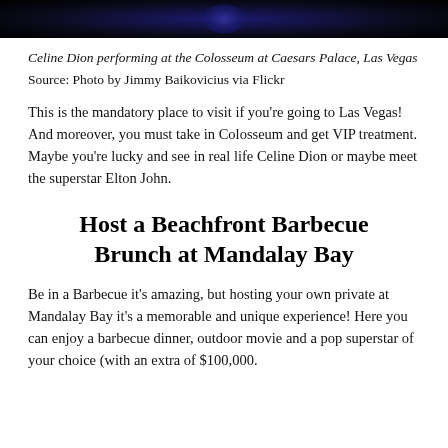[Figure (photo): Dark performance photo, likely Celine Dion performing at the Colosseum at Caesars Palace, Las Vegas. Image is partially cropped showing only the bottom strip.]
Celine Dion performing at the Colosseum at Caesars Palace, Las Vegas
Source: Photo by Jimmy Baikovicius via Flickr
This is the mandatory place to visit if you're going to Las Vegas! And moreover, you must take in Colosseum and get VIP treatment. Maybe you're lucky and see in real life Celine Dion or maybe meet the superstar Elton John.
Host a Beachfront Barbecue Brunch at Mandalay Bay
Be in a Barbecue it's amazing, but hosting your own private at Mandalay Bay it's a memorable and unique experience! Here you can enjoy a barbecue dinner, outdoor movie and a pop superstar of your choice (with an extra of $100,000.